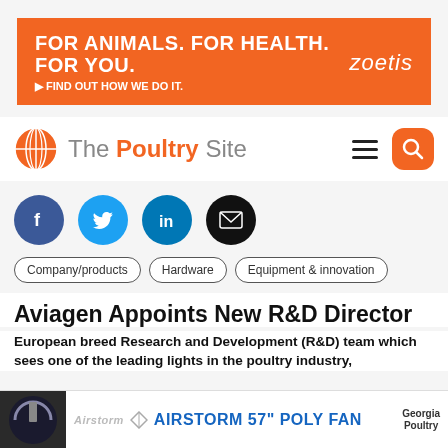[Figure (infographic): Zoetis orange ad banner: FOR ANIMALS. FOR HEALTH. FOR YOU. FIND OUT HOW WE DO IT. zoetis]
[Figure (logo): The Poultry Site logo with globe icon, hamburger menu and search button]
[Figure (infographic): Social media sharing icons: Facebook, Twitter, LinkedIn, Email]
Company/products
Hardware
Equipment & innovation
Aviagen Appoints New R&D Director
European breed Research and Development (R&D) team which sees one of the leading lights in the poultry industry,
[Figure (infographic): Bottom ad bar: Airstorm 57" POLY FAN with Georgia Poultry logo]